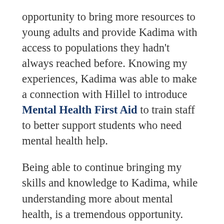opportunity to bring more resources to young adults and provide Kadima with access to populations they hadn't always reached before. Knowing my experiences, Kadima was able to make a connection with Hillel to introduce Mental Health First Aid to train staff to better support students who need mental health help.
Being able to continue bringing my skills and knowledge to Kadima, while understanding more about mental health, is a tremendous opportunity. Watching Kadima grow and seeing the diverse number of opportunities to be involved in the community, I'm eager to help Kadima continue to increase its